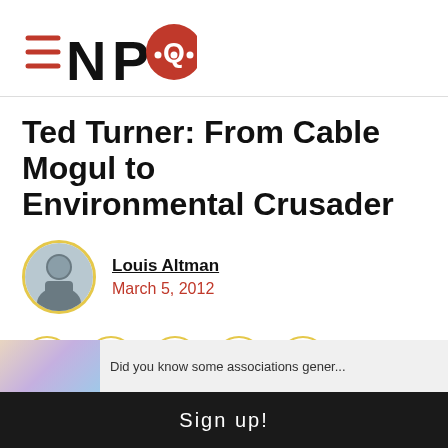NPQ logo
Ted Turner: From Cable Mogul to Environmental Crusader
Louis Altman
March 5, 2012
[Figure (infographic): Social share buttons: Facebook, Twitter, LinkedIn, Email, Print — each in a circle with yellow border]
Did you know some associations gener...
Sign up!